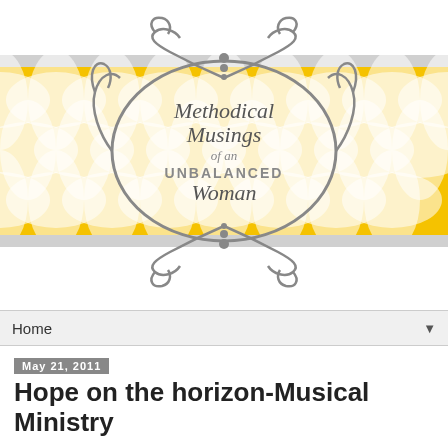[Figure (logo): Blog header logo for 'Methodical Musings of an Unbalanced Woman' — decorative ornate frame with scrollwork on white background, overlaid on a yellow geometric pattern background band. Text inside frame reads 'Methodical Musings of an Unbalanced Woman' in script/serif fonts.]
Home ▼
May 21, 2011
Hope on the horizon-Musical Ministry
I just wanted to say a little something about this particular